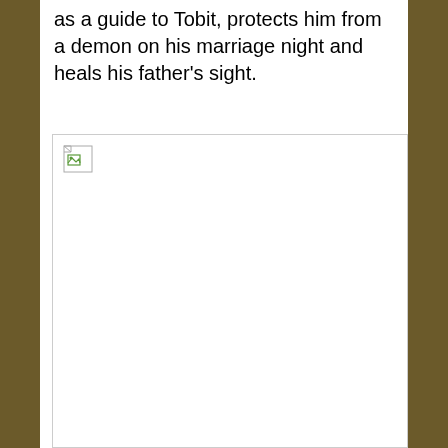as a guide to Tobit, protects him from a demon on his marriage night and heals his father's sight.
[Figure (photo): A broken/missing image placeholder with a small broken image icon in the top-left corner. The image area is outlined with a thin border.]